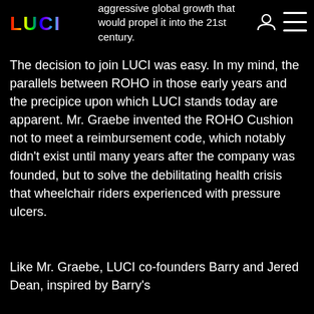aggressive global growth that would propel it into the 21st century.
The decision to join LUCI was easy. In my mind, the parallels between ROHO in those early years and the precipice upon which LUCI stands today are apparent. Mr. Graebe invented the ROHO Cushion not to meet a reimbursement code, which notably didn't exist until many years after the company was founded, but to solve the debilitating health crisis that wheelchair riders experienced with pressure ulcers.
Like Mr. Graebe, LUCI co-founders Barry and Jered Dean, inspired by Barry's